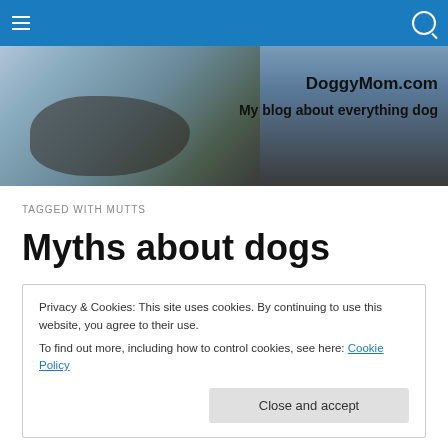DoggyMom.com – My blog about everything dog
[Figure (photo): Banner photo of a person walking a white and brown dog on a beach at sunset, with text 'DoggyMom.com' and 'My blog about everything dog']
TAGGED WITH MUTTS
Myths about dogs
Privacy & Cookies: This site uses cookies. By continuing to use this website, you agree to their use.
To find out more, including how to control cookies, see here: Cookie Policy
[Close and accept]
dogs commonly have more genetic disorders. Mixed